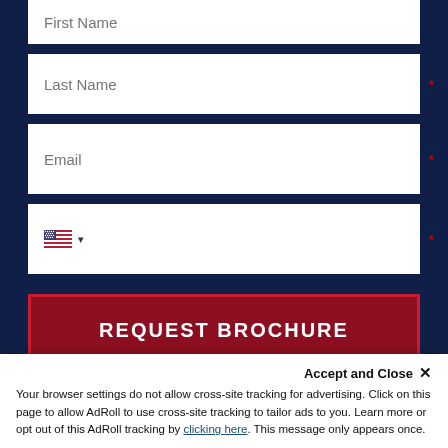[Figure (screenshot): Form field: First Name input box (partially visible at top)]
[Figure (screenshot): Form field: Last Name input box with red asterisk]
[Figure (screenshot): Form field: Email input box with red asterisk]
[Figure (screenshot): Form field: Phone country selector with US flag dropdown and red asterisk]
[Figure (screenshot): REQUEST BROCHURE submit button in dark red]
The University of Arizona respects your privacy. By submitting this form, you give your express consent to receive emails, calls and text messages, which may use automated technology, from a representative of University of Arizona. Message and data rates may apply. We need your consent to contact you, but you can enroll without consenting to our contacting you by calling us at the phone number displayed on this site.
Accept and Close ✕
Your browser settings do not allow cross-site tracking for advertising. Click on this page to allow AdRoll to use cross-site tracking to tailor ads to you. Learn more or opt out of this AdRoll tracking by clicking here. This message only appears once.